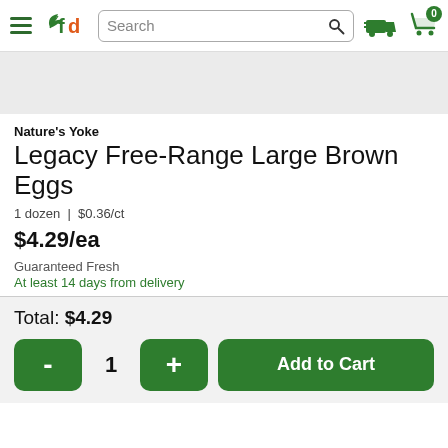fd — FreshDirect navigation header with search bar, delivery icon, and cart (0 items)
[Figure (photo): Product image placeholder area (gray background)]
Nature's Yoke
Legacy Free-Range Large Brown Eggs
1 dozen | $0.36/ct
$4.29/ea
Guaranteed Fresh
At least 14 days from delivery
Total: $4.29
- 1 + Add to Cart